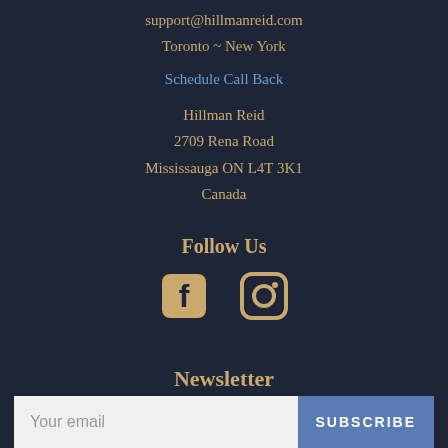support@hillmanreid.com
Toronto ~ New York
Schedule Call Back
Hillman Reid
2709 Rena Road
Mississauga ON L4T 3K1
Canada
Follow Us
[Figure (illustration): Facebook and Instagram social media icons in gold/tan color]
Newsletter
Sign up news, product launches and offers!
Your email | SUBSCRIBE